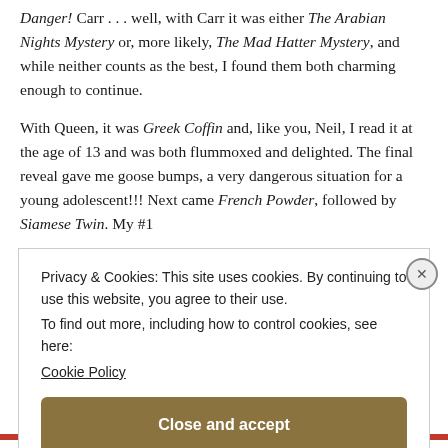Danger! Carr . . . well, with Carr it was either The Arabian Nights Mystery or, more likely, The Mad Hatter Mystery, and while neither counts as the best, I found them both charming enough to continue.
With Queen, it was Greek Coffin and, like you, Neil, I read it at the age of 13 and was both flummoxed and delighted. The final reveal gave me goose bumps, a very dangerous situation for a young adolescent!!! Next came French Powder, followed by Siamese Twin. My #1
Privacy & Cookies: This site uses cookies. By continuing to use this website, you agree to their use.
To find out more, including how to control cookies, see here:
Cookie Policy
Close and accept